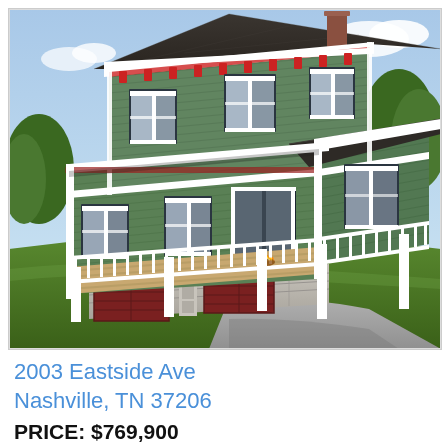[Figure (photo): 3D architectural rendering of a two-story craftsman-style house with green horizontal siding, dark shingle roof, white trim, a covered deck/porch with white railings on the first floor, dark red/maroon garage doors below the deck, stone foundation, and a driveway. The scene includes grass and trees in the background under a partly cloudy sky.]
2003 Eastside Ave
Nashville, TN 37206
PRICE: $769,900